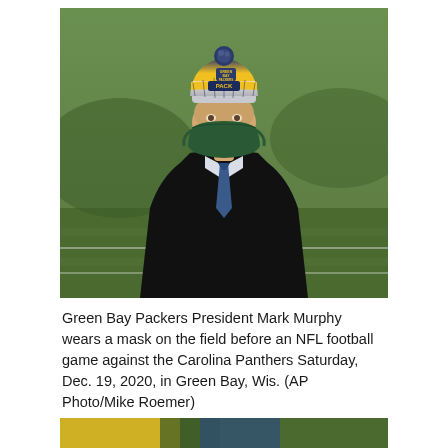[Figure (photo): Green Bay Packers President Mark Murphy wearing a Green Bay Packers knit hat with pom-pom and a dark green face mask, dressed in a dark suit with a blue tie, standing on the field before an NFL game. The background shows a blurred green football field.]
Green Bay Packers President Mark Murphy wears a mask on the field before an NFL football game against the Carolina Panthers Saturday, Dec. 19, 2020, in Green Bay, Wis. (AP Photo/Mike Roemer)
Dec. 19, 2020 07:59 PM EST